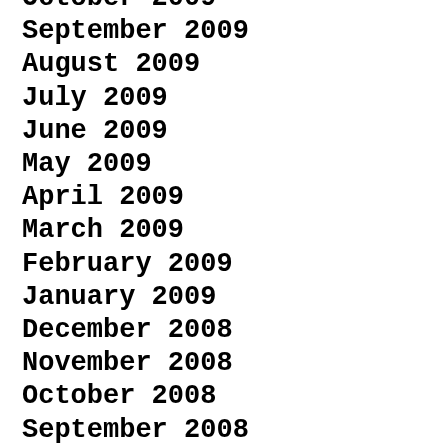October 2009
September 2009
August 2009
July 2009
June 2009
May 2009
April 2009
March 2009
February 2009
January 2009
December 2008
November 2008
October 2008
September 2008
August 2008
July 2008
June 2008
May 2008